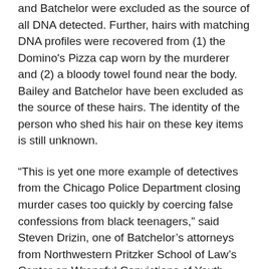and Batchelor were excluded as the source of all DNA detected. Further, hairs with matching DNA profiles were recovered from (1) the Domino's Pizza cap worn by the murderer and (2) a bloody towel found near the body. Bailey and Batchelor have been excluded as the source of these hairs. The identity of the person who shed his hair on these key items is still unknown.
“This is yet one more example of detectives from the Chicago Police Department closing murder cases too quickly by coercing false confessions from black teenagers,” said Steven Drizin, one of Batchelor’s attorneys from Northwestern Pritzker School of Law’s Center on Wrongful Convictions of Youth. “This further cements Chicago’s reputation as the ‘false confession capital’”